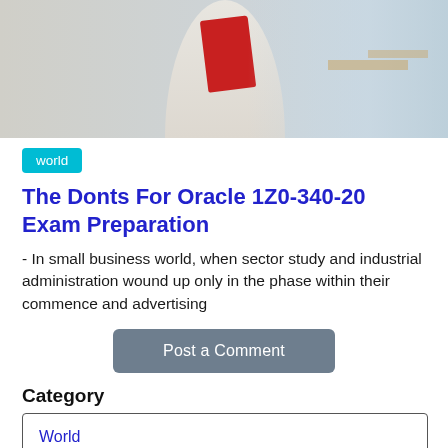[Figure (photo): Photo of a person in a classroom setting holding a red folder/book, with classroom chairs and students visible in the background]
world
The Donts For Oracle 1Z0-340-20 Exam Preparation
- In small business world, when sector study and industrial administration wound up only in the phase within their commence and advertising
Post a Comment
Category
World
General